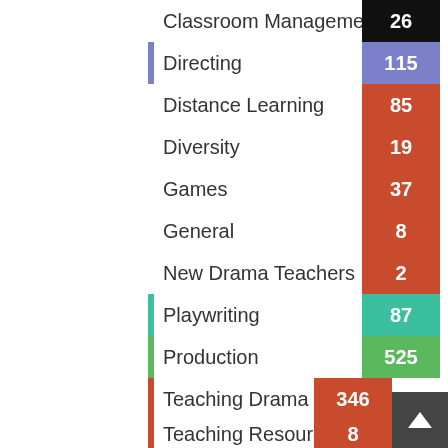[Figure (bar-chart): Category counts]